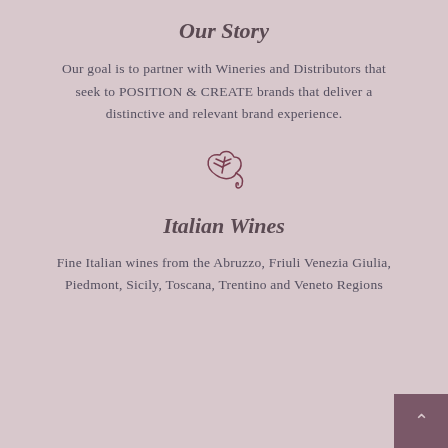Our Story
Our goal is to partner with Wineries and Distributors that seek to POSITION & CREATE brands that deliver a distinctive and relevant brand experience.
[Figure (illustration): Small decorative grape vine / leaf icon in dark rose/mauve color]
Italian Wines
Fine Italian wines from the Abruzzo, Friuli Venezia Giulia, Piedmont, Sicily, Toscana, Trentino and Veneto Regions